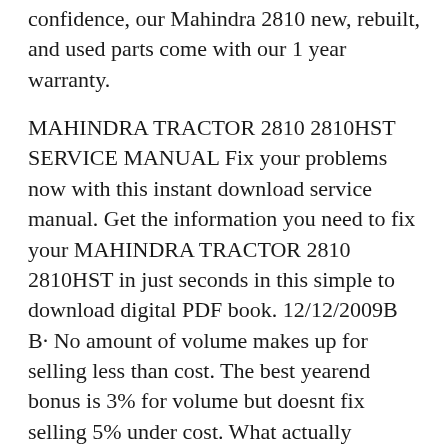confidence, our Mahindra 2810 new, rebuilt, and used parts come with our 1 year warranty.
MAHINDRA TRACTOR 2810 2810HST SERVICE MANUAL Fix your problems now with this instant download service manual. Get the information you need to fix your MAHINDRA TRACTOR 2810 2810HST in just seconds in this simple to download digital PDF book. 12/12/2009B B· No amount of volume makes up for selling less than cost. The best yearend bonus is 3% for volume but doesnt fix selling 5% under cost. What actually happens is a dealer has his butt in a pinch and will turn a tractor or a bunch of tractors at less than cost to stay in business or they have two or even three year old models. What is really